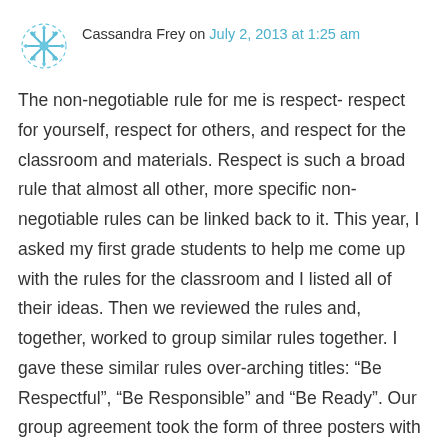Cassandra Frey on July 2, 2013 at 1:25 am
The non-negotiable rule for me is respect- respect for yourself, respect for others, and respect for the classroom and materials. Respect is such a broad rule that almost all other, more specific non-negotiable rules can be linked back to it. This year, I asked my first grade students to help me come up with the rules for the classroom and I listed all of their ideas. Then we reviewed the rules and, together, worked to group similar rules together. I gave these similar rules over-arching titles: “Be Respectful”, “Be Responsible” and “Be Ready”. Our group agreement took the form of three posters with the headings Be Respectful, Be Responsible, and Be Ready. Under each heading were the